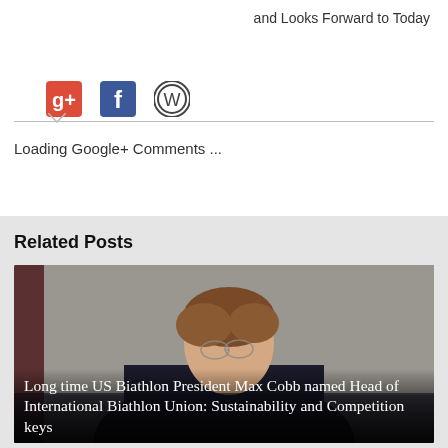and Looks Forward to Today
[Figure (infographic): Social sharing icons: Google+, Facebook, WordPress]
Loading Google+ Comments ...
Related Posts
[Figure (photo): Photo of a man with glasses and curly hair, wearing a dark jacket, looking sideways]
Long time US Biathlon President Max Cobb named Head of International Biathlon Union: Sustainability and Competition keys